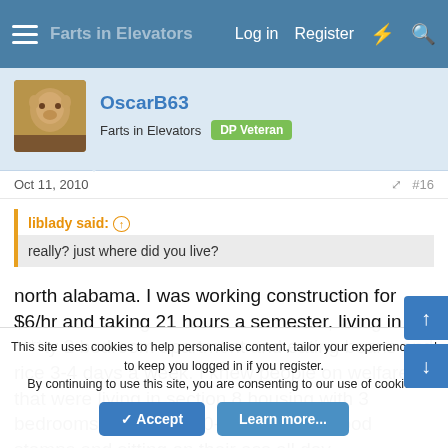Log in  Register
OscarB63
Farts in Elevators  DP Veteran
Oct 11, 2010  #16
liblady said:
really? just where did you live?
north alabama. I was working construction for $6/hr and taking 21 hours a semester, living in a ****ty 2 bedroom apartment and eating beans and rice 3-4 days a week. I knew people on welfare that were living in section 8 housing with 3 bedrooms, getting $250-300/month in food stamps and sitting on their ass all day
This site uses cookies to help personalise content, tailor your experience and to keep you logged in if you register.
By continuing to use this site, you are consenting to our use of cookies.
Accept  Learn more...